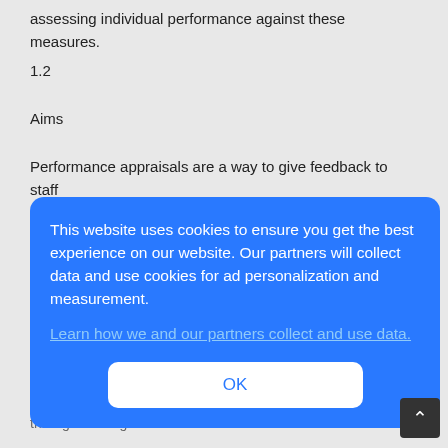assessing individual performance against these measures.
1.2
Aims
Performance appraisals are a way to give feedback to staff regarding their performance. The appraisal can be used to encourage good work as well as point out opportunities for
[Figure (screenshot): Cookie consent overlay popup with blue background. Text reads: 'This website uses cookies to ensure you get the best experience on our website. Our partners will collect data and use cookies for ad personalization and measurement.' with a link 'Learn how we and our partners collect and use data.' and an OK button.]
can identify opportunities for improvement or learning through training.